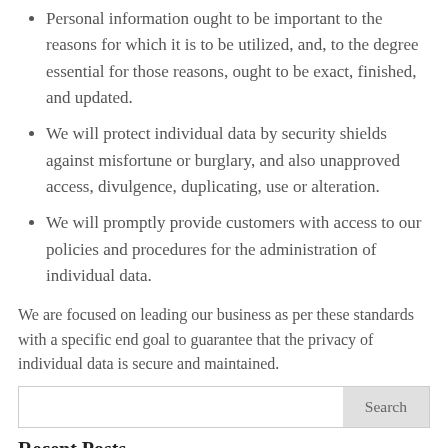Personal information ought to be important to the reasons for which it is to be utilized, and, to the degree essential for those reasons, ought to be exact, finished, and updated.
We will protect individual data by security shields against misfortune or burglary, and also unapproved access, divulgence, duplicating, use or alteration.
We will promptly provide customers with access to our policies and procedures for the administration of individual data.
We are focused on leading our business as per these standards with a specific end goal to guarantee that the privacy of individual data is secure and maintained.
Recent Posts